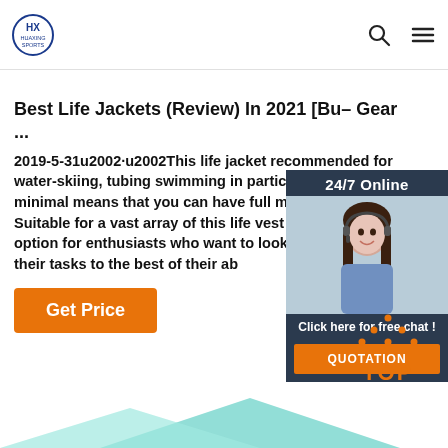HUAXING SPORTS
Best Life Jackets (Review) In 2021 [Bu– Gear ...
2019-5-31u2002·u2002This life jacket recommended for water-skiing, tubing swimming in particular, as the minimal means that you can have full mobility flexibility. Suitable for a vast array of this life vest is the perfect option for enthusiasts who want to look cool and with their tasks to the best of their ab
Get Price
[Figure (infographic): 24/7 Online chat widget with a photo of a woman wearing a headset, text 'Click here for free chat!' and an orange QUOTATION button]
[Figure (other): TOP button with orange dotted triangle above the text TOP in orange]
[Figure (other): Teal/cyan decorative shapes at the bottom of the page]